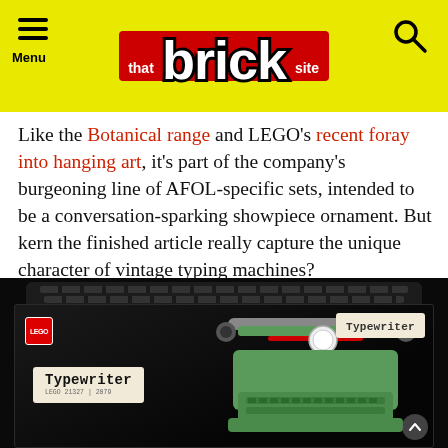that brick site — Menu / Search header
Like the Botanical range and LEGO's recent foray into hanging art, it's part of the company's burgeoning line of AFOL-specific sets, intended to be a conversation-sparking showpiece ornament. But kern the finished article really capture the unique character of vintage typing machines?
[Figure (photo): LEGO Typewriter set product box on dark background, showing a green LEGO typewriter model labeled 'Typewriter' with the LEGO logo in red on the box. A keyboard accessory is visible at top.]